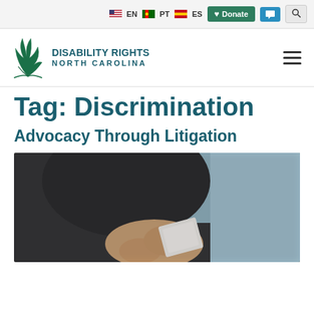EN PT ES | Donate | Chat | Search
[Figure (logo): Disability Rights North Carolina logo with palm leaf graphic]
Tag: Discrimination
Advocacy Through Litigation
[Figure (photo): Blurred photo of a person in dark clothing holding papers or a document, close-up of hands]